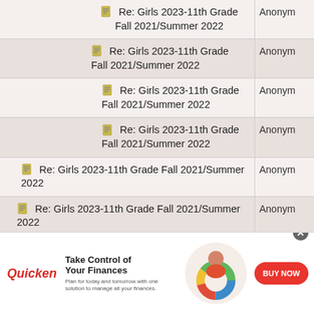| Topic | Author |
| --- | --- |
| Re: Girls 2023-11th Grade Fall 2021/Summer 2022 | Anonym |
| Re: Girls 2023-11th Grade Fall 2021/Summer 2022 | Anonym |
| Re: Girls 2023-11th Grade Fall 2021/Summer 2022 | Anonym |
| Re: Girls 2023-11th Grade Fall 2021/Summer 2022 | Anonym |
| Re: Girls 2023-11th Grade Fall 2021/Summer 2022 | Anonym |
| Re: Girls 2023-11th Grade Fall 2021/Summer 2022 | Anonym |
| Re: Girls 2023-11th Grade Fall 2021/Summer 2022 | Anonym |
| Re: Girls 2023-11th Grade Fall 2021/Summer 2022 | Anonym |
[Figure (other): Quicken advertisement banner: Take Control of Your Finances — BUY NOW button]